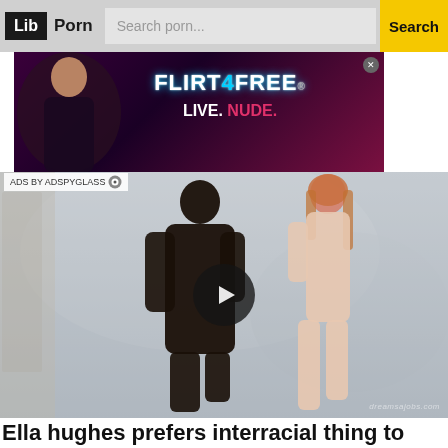Lib Porn | Search porn... | Search
[Figure (photo): FLIRT4FREE advertisement banner with woman and text LIVE. NUDE.]
ADS BY ADSPYGLASS
[Figure (photo): Video thumbnail showing two people, with a play button overlay and watermark dreamsajobs.com]
Ella hughes prefers interracial thing to